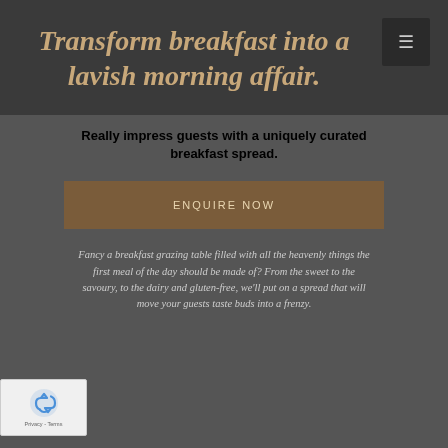Transform breakfast into a lavish morning affair.
Really impress guests with a uniquely curated breakfast spread.
ENQUIRE NOW
Fancy a breakfast grazing table filled with all the heavenly things the first meal of the day should be made of? From the sweet to the savoury, to the dairy and gluten-free, we'll put on a spread that will move your guests taste buds into a frenzy.
[Figure (other): reCAPTCHA widget with recycling arrow icon and Privacy - Terms text]